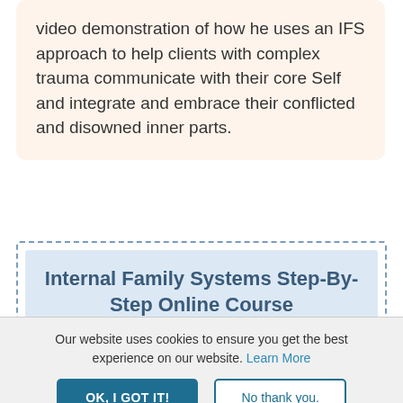video demonstration of how he uses an IFS approach to help clients with complex trauma communicate with their core Self and integrate and embrace their conflicted and disowned inner parts.
Internal Family Systems Step-By-Step Online Course
IFS for Deep Healing with Richard Schwartz
Valued at $358.98
Today Only $149.99 — An
Our website uses cookies to ensure you get the best experience on our website. Learn More